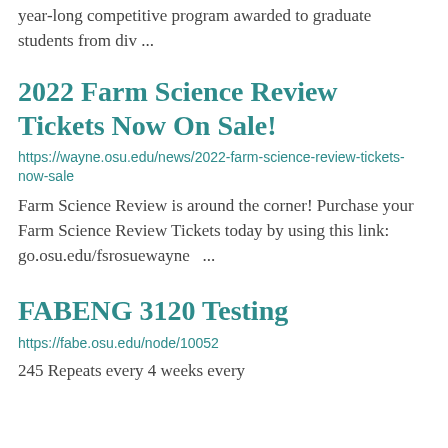year-long competitive program awarded to graduate students from div ...
2022 Farm Science Review Tickets Now On Sale!
https://wayne.osu.edu/news/2022-farm-science-review-tickets-now-sale
Farm Science Review is around the corner! Purchase your Farm Science Review Tickets today by using this link: go.osu.edu/fsrosuewayne  ...
FABENG 3120 Testing
https://fabe.osu.edu/node/10052
245 Repeats every 4 weeks every